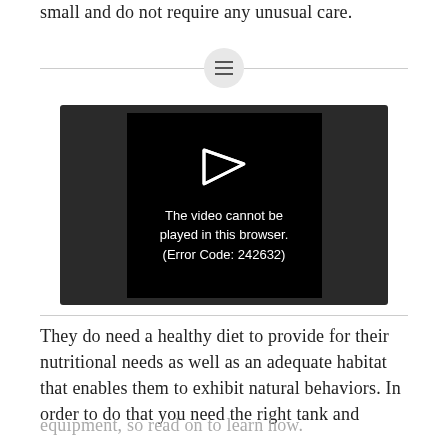small and do not require any unusual care.
[Figure (screenshot): Video player showing error message: 'The video cannot be played in this browser. (Error Code: 242632)' with a play icon above the text, on a black background centered in a dark gray player frame.]
They do need a healthy diet to provide for their nutritional needs as well as an adequate habitat that enables them to exhibit natural behaviors. In order to do that you need the right tank and
equipment, so read on to learn how.